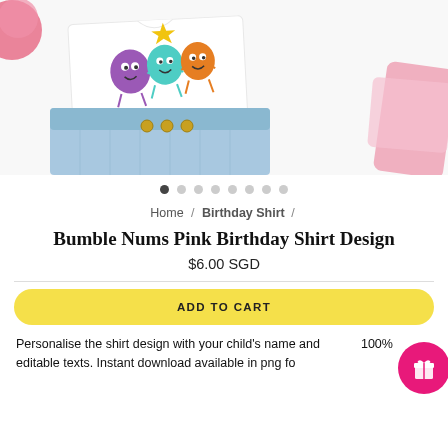[Figure (photo): Product photo showing a children's white shirt with colorful cartoon Bumble Nums characters (purple, teal, orange blobs with faces) and a blue denim skirt with gold buttons, laid on a white fluffy surface with a pink pom-pom accessory on the left and pink fabric on the right.]
Home / Birthday Shirt /
Bumble Nums Pink Birthday Shirt Design
$6.00 SGD
ADD TO CART
Personalise the shirt design with your child's name and 100% editable texts. Instant download available in png fo